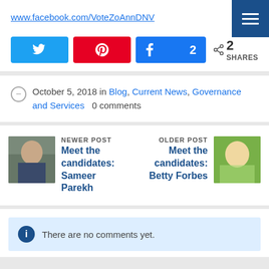www.facebook.com/VoteZoAnnDNV
[Figure (screenshot): Social share buttons: Twitter (blue), Pinterest (red), Facebook with count 2 (blue), and share icon with 2 SHARES total]
October 5, 2018 in Blog, Current News, Governance and Services   0 comments
NEWER POST
Meet the candidates: Sameer Parekh
OLDER POST
Meet the candidates: Betty Forbes
There are no comments yet.